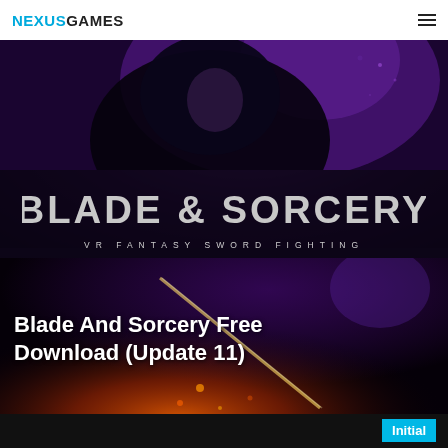NEXUSGAMES
[Figure (screenshot): Blade and Sorcery VR game hero image with dramatic purple and dark background, featuring a character silhouette at top, the game logo 'BLADE & SORCERY VR FANTASY SWORD FIGHTING' in a dark band in the middle, and a fire/sword combat scene at the bottom]
Blade And Sorcery Free Download (Update 11)
Initial